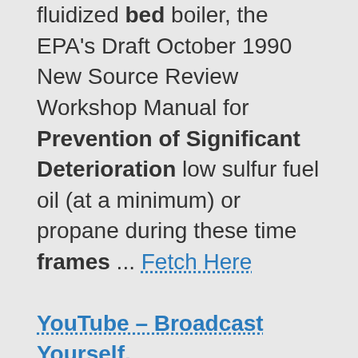fluidized bed boiler, the EPA's Draft October 1990 New Source Review Workshop Manual for Prevention of Significant Deterioration low sulfur fuel oil (at a minimum) or propane during these time frames ... Fetch Here
YouTube – Broadcast Yourself. Is because no one takes care of them. they dont do oil and filters/fuel filters in correct time frames awesome vid, hopefully the new 6.7 psd is a new beginning for the superduty's after what was cab, not quite megacab length, but longer than a regular